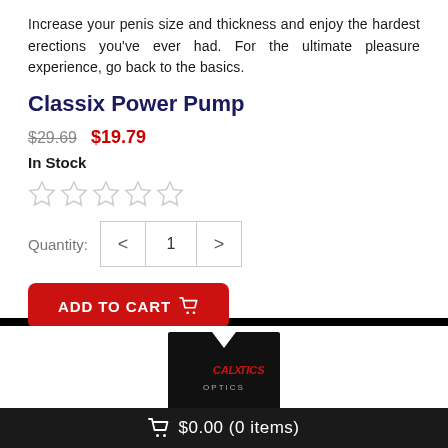Increase your penis size and thickness and enjoy the hardest erections you've ever had. For the ultimate pleasure experience, go back to the basics.
Classix Power Pump
$29.69  $19.79  In Stock
[Figure (other): Five empty star rating icons]
Quantity: 1
ADD TO CART
[Figure (photo): CalExotics product package partially visible]
$0.00 (0 items)